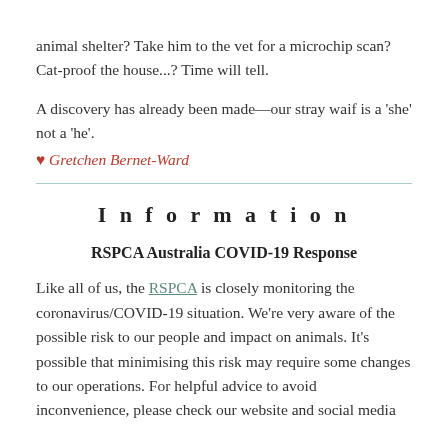animal shelter?  Take him to the vet for a microchip scan?  Cat-proof the house...?  Time will tell.
A discovery has already been made—our stray waif is a 'she' not a 'he'.
♥ Gretchen Bernet-Ward
Information
RSPCA Australia COVID-19 Response
Like all of us, the RSPCA is closely monitoring the coronavirus/COVID-19 situation.  We're very aware of the possible risk to our people and impact on animals.  It's possible that minimising this risk may require some changes to our operations.  For helpful advice to avoid inconvenience, please check our website and social media